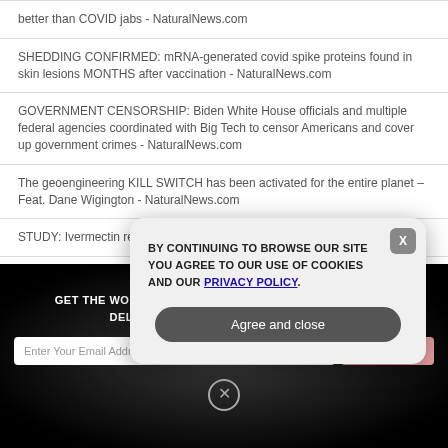better than COVID jabs - NaturalNews.com
SHEDDING CONFIRMED: mRNA-generated covid spike proteins found in skin lesions MONTHS after vaccination - NaturalNews.com
GOVERNMENT CENSORSHIP: Biden White House officials and multiple federal agencies coordinated with Big Tech to censor Americans and cover up government crimes - NaturalNews.com
The geoengineering KILL SWITCH has been activated for the entire planet – Feat. Dane Wigington - NaturalNews.com
STUDY: Ivermectin reduces covid death risk by 92% - NaturalNews.com
ELECTRIC CAR SCAM: Europeans could be paying $270 to charge their
GET THE WORLD'S BEST NATURAL HEALTH NEWSLETTER DELIVERED STRAIGHT TO YOUR INBOX
Enter Your Email Address
SUBSCRIBE
BY CONTINUING TO BROWSE OUR SITE YOU AGREE TO OUR USE OF COOKIES AND OUR PRIVACY POLICY.
Agree and close